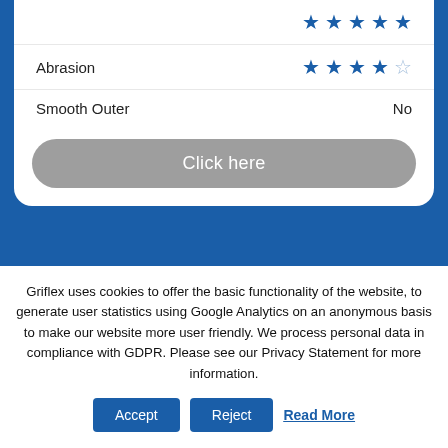| Property | Value |
| --- | --- |
| Abrasion | ★★★★☆ |
| Smooth Outer | No |
Click here
[Figure (photo): Blue corrugated/ribbed flexible hose or conduit (Griflex product) photographed diagonally on a light grey background]
Griflex uses cookies to offer the basic functionality of the website, to generate user statistics using Google Analytics on an anonymous basis to make our website more user friendly. We process personal data in compliance with GDPR. Please see our Privacy Statement for more information.
Accept
Reject
Read More